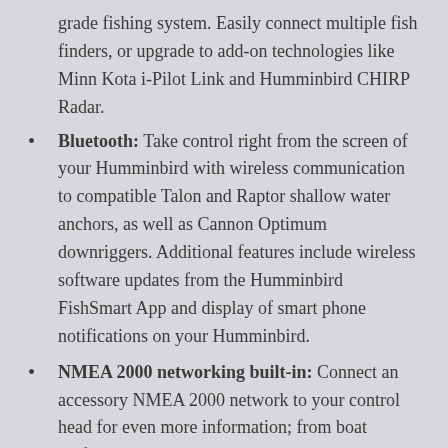grade fishing system. Easily connect multiple fish finders, or upgrade to add-on technologies like Minn Kota i-Pilot Link and Humminbird CHIRP Radar.
Bluetooth: Take control right from the screen of your Humminbird with wireless communication to compatible Talon and Raptor shallow water anchors, as well as Cannon Optimum downriggers. Additional features include wireless software updates from the Humminbird FishSmart App and display of smart phone notifications on your Humminbird.
NMEA 2000 networking built-in: Connect an accessory NMEA 2000 network to your control head for even more information; from boat performance to weather and water conditions, make sense of it all with NMEA 2000